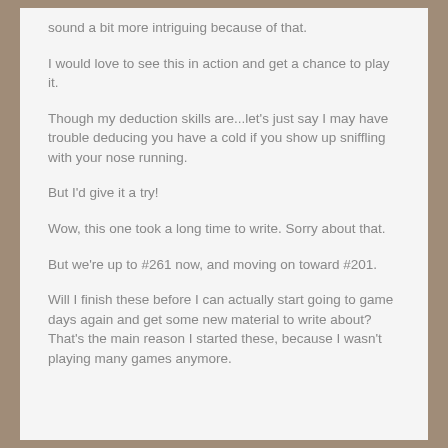sound a bit more intriguing because of that.
I would love to see this in action and get a chance to play it.
Though my deduction skills are...let's just say I may have trouble deducing you have a cold if you show up sniffling with your nose running.
But I'd give it a try!
Wow, this one took a long time to write. Sorry about that.
But we're up to #261 now, and moving on toward #201.
Will I finish these before I can actually start going to game days again and get some new material to write about? That's the main reason I started these, because I wasn't playing many games anymore.